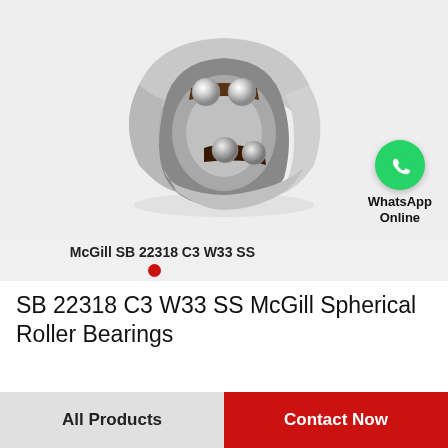[Figure (photo): Cross-section illustration of a McGill spherical roller bearing (SB 22318 C3 W33 SS) showing two rows of steel balls in a grey metallic ring housing with a dark brown cage]
McGill SB 22318 C3 W33 SS
[Figure (logo): WhatsApp green circle icon with white phone handset, labeled 'WhatsApp Online']
SB 22318 C3 W33 SS McGill Spherical Roller Bearings
All Products
Contact Now